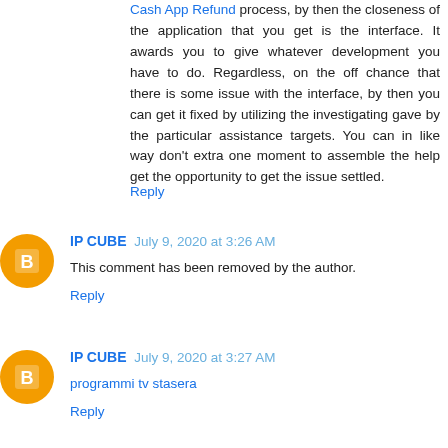Cash App Refund process, by then the closeness of the application that you get is the interface. It awards you to give whatever development you have to do. Regardless, on the off chance that there is some issue with the interface, by then you can get it fixed by utilizing the investigating gave by the particular assistance targets. You can in like way don't extra one moment to assemble the help get the opportunity to get the issue settled.
Reply
IP CUBE  July 9, 2020 at 3:26 AM
This comment has been removed by the author.
Reply
IP CUBE  July 9, 2020 at 3:27 AM
programmi tv stasera
Reply